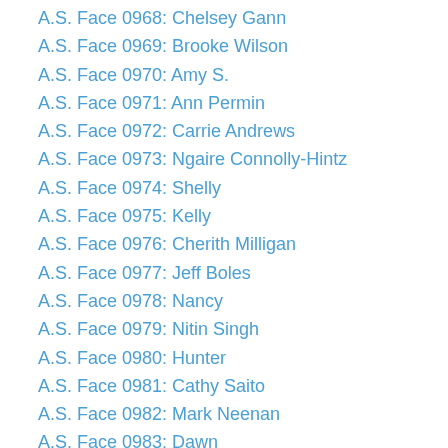A.S. Face 0968: Chelsey Gann
A.S. Face 0969: Brooke Wilson
A.S. Face 0970: Amy S.
A.S. Face 0971: Ann Permin
A.S. Face 0972: Carrie Andrews
A.S. Face 0973: Ngaire Connolly-Hintz
A.S. Face 0974: Shelly
A.S. Face 0975: Kelly
A.S. Face 0976: Cherith Milligan
A.S. Face 0977: Jeff Boles
A.S. Face 0978: Nancy
A.S. Face 0979: Nitin Singh
A.S. Face 0980: Hunter
A.S. Face 0981: Cathy Saito
A.S. Face 0982: Mark Neenan
A.S. Face 0983: Dawn
A.S. Face 0984: Cassie Pugh
A.S. Face 0985: Gillian
A.S. Face 0986: Aidan
A.S. Face 0987: Nancy Hart